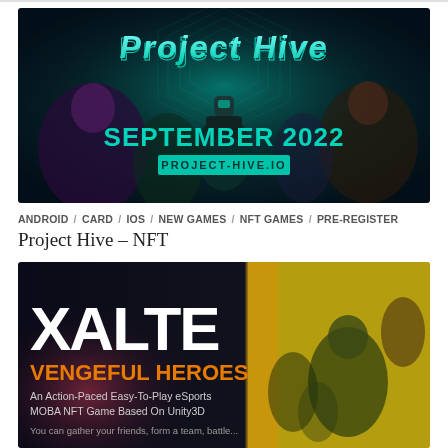[Figure (illustration): Project Hive game banner showing armored sci-fi characters against a dark teal background with glowing hexagonal patterns. Title 'Project Hive' in stylized font at top, 'SEPTEMBER 2022' in large teal text and 'PROJECT-HIVE.IO' in a teal box at center.]
ANDROID / CARD / IOS / NEW GAMES / NFT GAMES / PRE-REGISTER
Project Hive – NFT
[Figure (illustration): Xalte Vengeful Heroes game banner. Left side dark background with 'XALTE' in large white block letters, 'VENGEFUL HEROES' in orange bold text below, and subtitle 'An Action-Paced Easy-To-Play eSports MOBA NFT Game Based On Unity3D'. Right side shows colorful animated game characters on yellow/green background.]